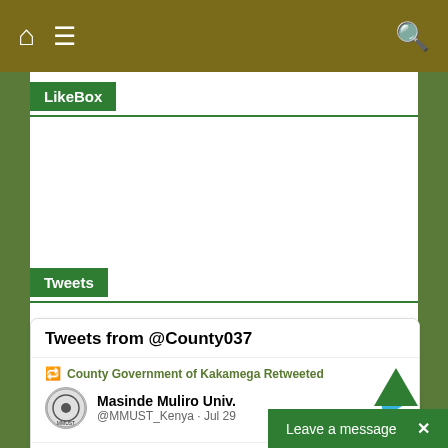Navigation bar with home, menu, and search icons
LikeBox
Tweets
[Figure (screenshot): Twitter widget showing 'Tweets from @County037' with a retweet from Masinde Muliro Univ. (@MMUST_Kenya · Jul 29): CONGRATULATIONS TO OUR BABY UNIVERSITY Kaimosi Frie... ON THE AWARD OF A UNIV...]
Leave a message